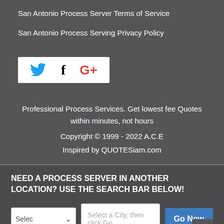San Antonio Process Server Terms of Service
San Antonio Process Serving Privacy Policy
[Figure (other): Social media icons box with Twitter bird (blue), Facebook f (black), and Google+ (red) logos on white background]
Professional Process Services. Get lowest fee Quotes within minutes, not hours
Copyright © 1999 - 2022 A.C.E
Inspired by QUOTESiam.com
NEED A PROCESS SERVER IN ANOTHER LOCATION? USE THE SEARCH BAR BELOW!